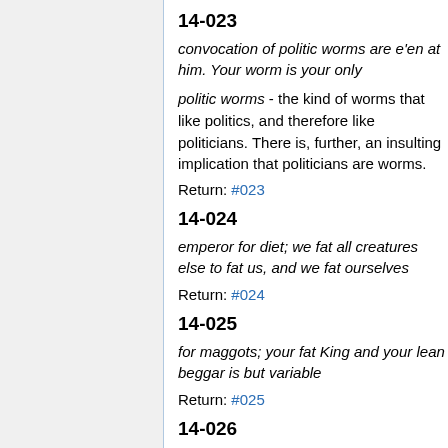14-023
convocation of politic worms are e'en at him. Your worm is your only
politic worms - the kind of worms that like politics, and therefore like politicians. There is, further, an insulting implication that politicians are worms.
Return: #023
14-024
emperor for diet; we fat all creatures else to fat us, and we fat ourselves
Return: #024
14-025
for maggots; your fat King and your lean beggar is but variable
Return: #025
14-026
service, two dishes but to one table;